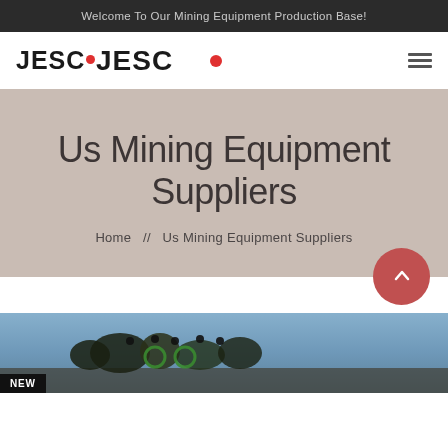Welcome To Our Mining Equipment Production Base!
[Figure (logo): JESCO logo with red dot between C and O, and hamburger menu icon on the right]
Us Mining Equipment Suppliers
Home  //  Us Mining Equipment Suppliers
[Figure (photo): Mining equipment photo with NEW badge in bottom left corner]